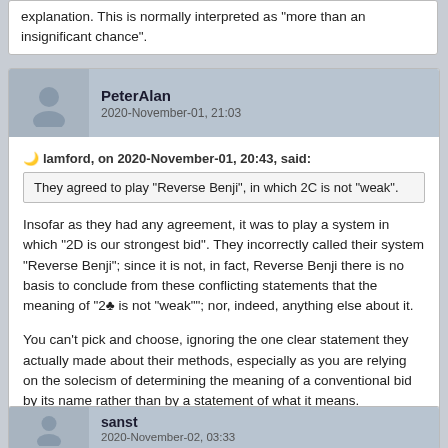explanation. This is normally interpreted as "more than an insignificant chance".
PeterAlan
2020-November-01, 21:03
lamford, on 2020-November-01, 20:43, said:
They agreed to play "Reverse Benji", in which 2C is not "weak".
Insofar as they had any agreement, it was to play a system in which "2D is our strongest bid". They incorrectly called their system "Reverse Benji"; since it is not, in fact, Reverse Benji there is no basis to conclude from these conflicting statements that the meaning of "2♣ is not "weak""; nor, indeed, anything else about it.
You can't pick and choose, ignoring the one clear statement they actually made about their methods, especially as you are relying on the solecism of determining the meaning of a conventional bid by its name rather than by a statement of what it means.
sanst
2020-November-02, 03:33